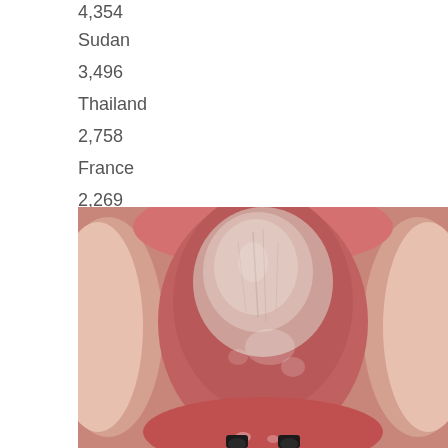4,354
Sudan
3,496
Thailand
2,758
France
2,269
[Figure (photo): Close-up medical photograph of an open mouth showing the tongue and oral cavity with visible red/pink tissue, taken from below looking upward into the mouth. The tongue appears enlarged or inflamed. Black dental instruments visible at the bottom of the image.]